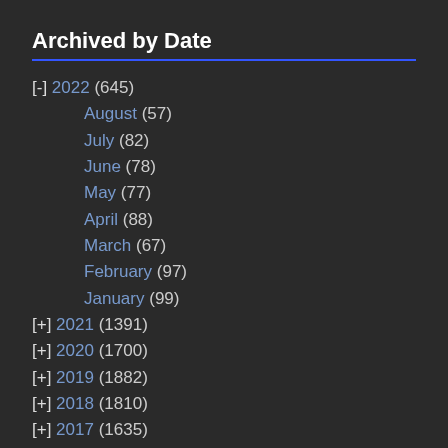Archived by Date
[-] 2022 (645)
August (57)
July (82)
June (78)
May (77)
April (88)
March (67)
February (97)
January (99)
[+] 2021 (1391)
[+] 2020 (1700)
[+] 2019 (1882)
[+] 2018 (1810)
[+] 2017 (1635)
[+] 2016 (1395)